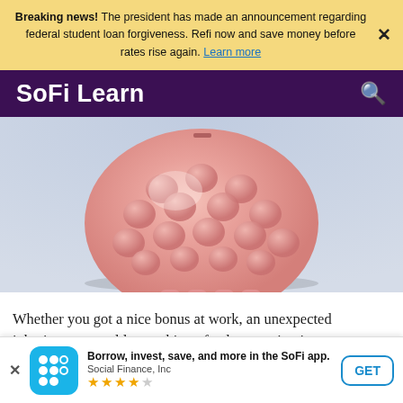Breaking news! The president has made an announcement regarding federal student loan forgiveness. Refi now and save money before rates rise again. Learn more
SoFi Learn
[Figure (photo): Close-up photo of a pink ceramic piggy bank with coin-shaped raised circles all over its body, standing on a light blue/grey background]
Whether you got a nice bonus at work, an unexpected inheritance, or sold something of value, coming into some extra cash can be an awesome thing.
Borrow, invest, save, and more in the SoFi app. Social Finance, Inc